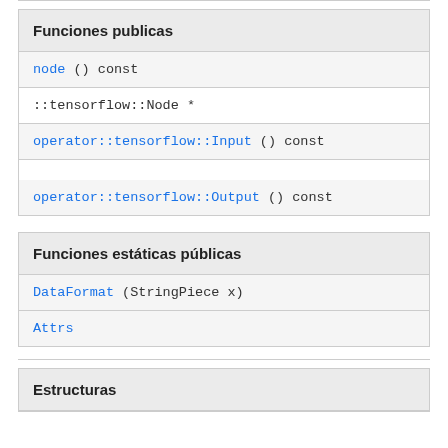| Funciones publicas |
| --- |
| node () const |
| ::tensorflow::Node * |
| operator::tensorflow::Input () const |
| operator::tensorflow::Output () const |
| Funciones estáticas públicas |
| --- |
| DataFormat (StringPiece x) |
| Attrs |
| Estructuras |
| --- |